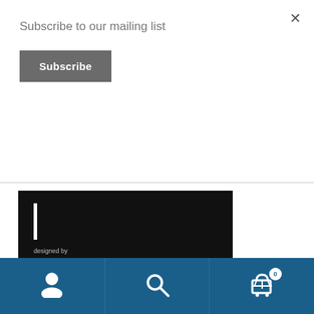Subscribe to our mailing list
Subscribe
[Figure (illustration): Black promotional card for MD Grotesque font family. Shows white vertical bar, 'designed by Margarita Dyakovich' in gray/orange text, a horizontal divider, 'MD' in large bold orange text, 'GROTESQUE' in large light gray text, and 'Font family consisting 6 styles' in small white text at bottom.]
User icon | Search icon | Cart icon with badge 0